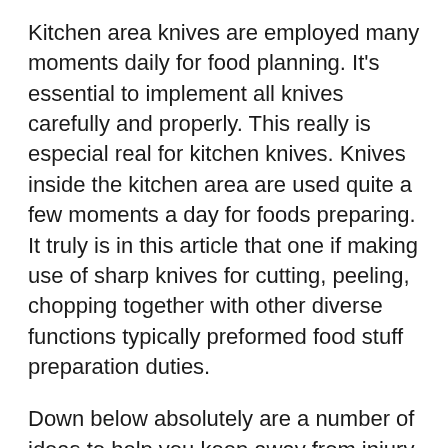Kitchen area knives are employed many moments daily for food planning. It’s essential to implement all knives carefully and properly. This really is especial real for kitchen knives. Knives inside the kitchen area are used quite a few moments a day for foods preparing. It truly is in this article that one if making use of sharp knives for cutting, peeling, chopping together with other diverse functions typically preformed food stuff preparation duties.
Down below absolutely are a number of ideas to help you keep away from injury, when utilizing knives for meals planning.
Firstly, hold all sharp knives out in the access of youthful kids. This really is accurate for all